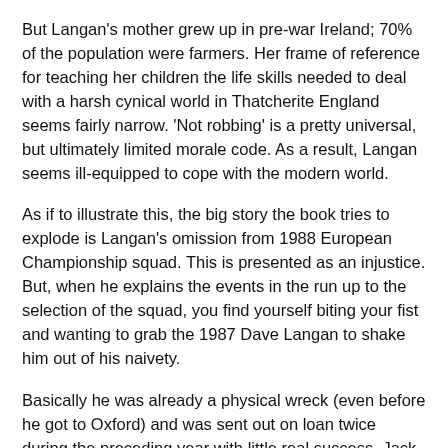But Langan's mother grew up in pre-war Ireland; 70% of the population were farmers. Her frame of reference for teaching her children the life skills needed to deal with a harsh cynical world in Thatcherite England seems fairly narrow. 'Not robbing' is a pretty universal, but ultimately limited morale code. As a result, Langan seems ill-equipped to cope with the modern world.
As if to illustrate this, the big story the book tries to explode is Langan's omission from 1988 European Championship squad. This is presented as an injustice. But, when he explains the events in the run up to the selection of the squad, you find yourself biting your fist and wanting to grab the 1987 Dave Langan to shake him out of his naivety.
Basically he was already a physical wreck (even before he got to Oxford) and was sent out on loan twice during the preceding year with little real success. Jack Charlton introduced a  calculated approach to Irish football, plundering anyone with a vague link to the country. His innovation was a functional long ball game that suited the skills he had at his